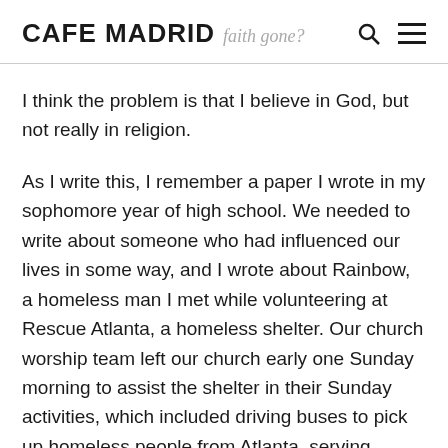CAFE MADRID  faith gone?
I think the problem is that I believe in God, but not really in religion.
As I write this, I remember a paper I wrote in my sophomore year of high school. We needed to write about someone who had influenced our lives in some way, and I wrote about Rainbow, a homeless man I met while volunteering at Rescue Atlanta, a homeless shelter. Our church worship team left our church early one Sunday morning to assist the shelter in their Sunday activities, which included driving buses to pick up homeless people from Atlanta, serving breakfast, distributing clothes and toiletries before showering, sitting and talk to them while they waited to see a doctor, and finally, worship. We were there for at least six hours, so we changed jobs a lot. At one